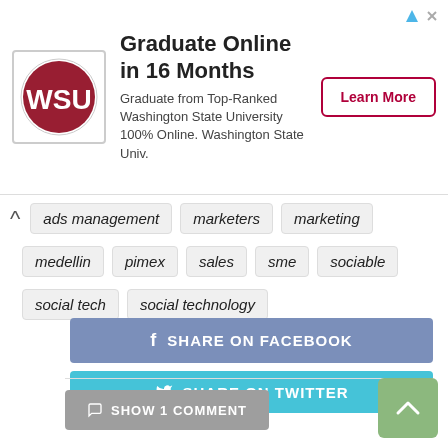[Figure (infographic): Advertisement banner for Washington State University online graduate program. Shows WSU logo, title 'Graduate Online in 16 Months', text 'Graduate from Top-Ranked Washington State University 100% Online. Washington State Univ.', and a 'Learn More' button.]
ads management
marketers
marketing
medellin
pimex
sales
sme
sociable
social tech
social technology
SHARE ON FACEBOOK
SHARE ON TWITTER
SHOW 1 COMMENT